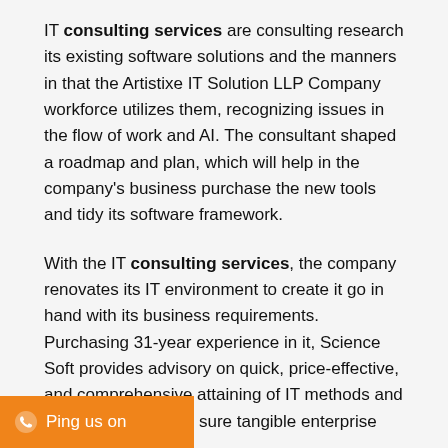IT consulting services are consulting research its existing software solutions and the manners in that the Artistixe IT Solution LLP Company workforce utilizes them, recognizing issues in the flow of work and AI. The consultant shaped a roadmap and plan, which will help in the company's business purchase the new tools and tidy its software framework.
With the IT consulting services, the company renovates its IT environment to create it go in hand with its business requirements. Purchasing 31-year experience in it, Science Soft provides advisory on quick, price-effective, and comprehensive attaining of IT methods and procedures to make sure tangible enterprise results.
The Artistixe Company is providing the IT consulting that can be offered as–